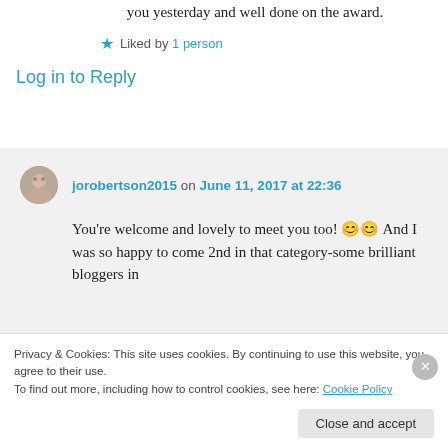you yesterday and well done on the award.
Liked by 1 person
Log in to Reply
jorobertson2015 on June 11, 2017 at 22:36
You're welcome and lovely to meet you too! 😊😊 And I was so happy to come 2nd in that category-some brilliant bloggers in
Privacy & Cookies: This site uses cookies. By continuing to use this website, you agree to their use.
To find out more, including how to control cookies, see here: Cookie Policy
Close and accept